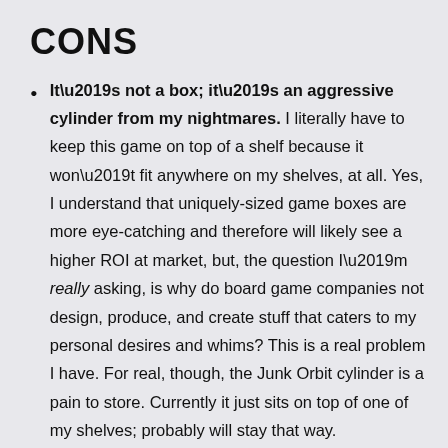CONS
It’s not a box; it’s an aggressive cylinder from my nightmares. I literally have to keep this game on top of a shelf because it won’t fit anywhere on my shelves, at all. Yes, I understand that uniquely-sized game boxes are more eye-catching and therefore will likely see a higher ROI at market, but, the question I’m really asking, is why do board game companies not design, produce, and create stuff that caters to my personal desires and whims? This is a real problem I have. For real, though, the Junk Orbit cylinder is a pain to store. Currently it just sits on top of one of my shelves; probably will stay that way.
The sheer amount of math in this game can